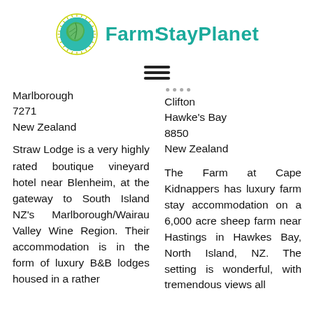[Figure (logo): FarmStayPlanet logo: circular globe icon with green leaf, teal text 'FarmStayPlanet']
≡
Marlborough
7271
New Zealand
Clifton
Hawke's Bay
8850
New Zealand
Straw Lodge is a very highly rated boutique vineyard hotel near Blenheim, at the gateway to South Island NZ's Marlborough/Wairau Valley Wine Region. Their accommodation is in the form of luxury B&B lodges housed in a rather
The Farm at Cape Kidnappers has luxury farm stay accommodation on a 6,000 acre sheep farm near Hastings in Hawkes Bay, North Island, NZ. The setting is wonderful, with tremendous views all